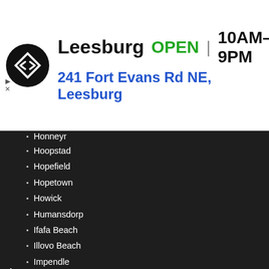[Figure (infographic): Advertisement banner for Leesburg store showing logo, OPEN status, hours 10AM-9PM, and address 241 Fort Evans Rd NE, Leesburg with navigation icon]
Honneyr
Hoopstad
Hopefield
Hopetown
Howick
Humansdorp
Ifafa Beach
Illovo Beach
Impendle
Inanda
Ingwavuma
Irene
Isando
Isipingo
Ixopo
Jacobsdal
Jagersfontein
Jan Kempdorp
Jansenville
Jeffreys Bay
Johannesburg
Kaapmuiden
Karridene